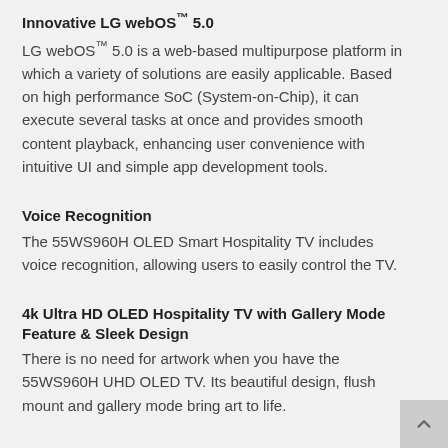Innovative LG webOS™ 5.0
LG webOS™ 5.0 is a web-based multipurpose platform in which a variety of solutions are easily applicable. Based on high performance SoC (System-on-Chip), it can execute several tasks at once and provides smooth content playback, enhancing user convenience with intuitive UI and simple app development tools.
Voice Recognition
The 55WS960H OLED Smart Hospitality TV includes voice recognition, allowing users to easily control the TV.
4k Ultra HD OLED Hospitality TV with Gallery Mode Feature & Sleek Design
There is no need for artwork when you have the 55WS960H UHD OLED TV. Its beautiful design, flush mount and gallery mode bring art to life.